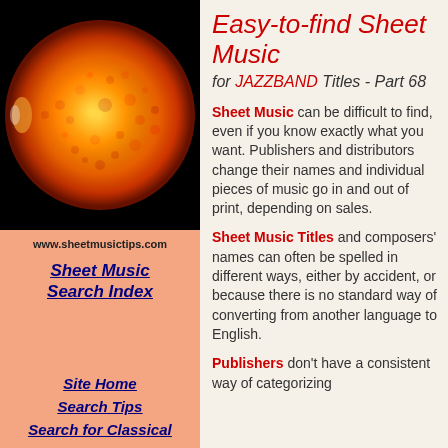[Figure (photo): Close-up photograph of the Sun showing orange/red surface texture against black background]
www.sheetmusictips.com
Sheet Music Search Index
Site Home
Search Tips
Search for Classical
Easy-to-find Sheet Music
for JAZZBAND Titles - Part 68
Sheet Music can be difficult to find, even if you know exactly what you want. Publishers and distributors change their names and individual pieces of music go in and out of print, depending on sales.
Sheet Music Titles and composers' names can often be spelled in different ways, either by accident, or because there is no standard way of converting from another language to English.
Publishers don't have a consistent way of categorizing